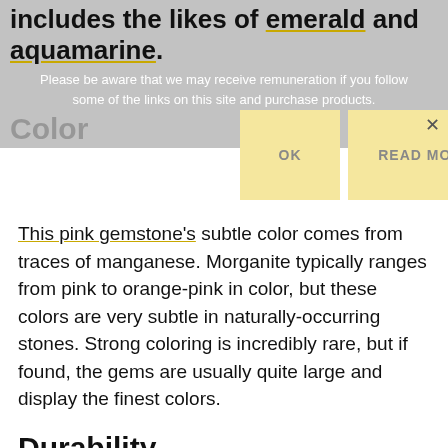includes the likes of emerald and aquamarine.
Please be aware that we may receive remuneration if you follow some of the links on this site and purchase products.
Color
OK
READ MORE
This pink gemstone's subtle color comes from traces of manganese. Morganite typically ranges from pink to orange-pink in color, but these colors are very subtle in naturally-occurring stones. Strong coloring is incredibly rare, but if found, the gems are usually quite large and display the finest colors.
Durability
In terms of durability, morganite is relatively hard, but not indestructible. The gemstone is hard enough to resist dents somewhat, but it will not be able to